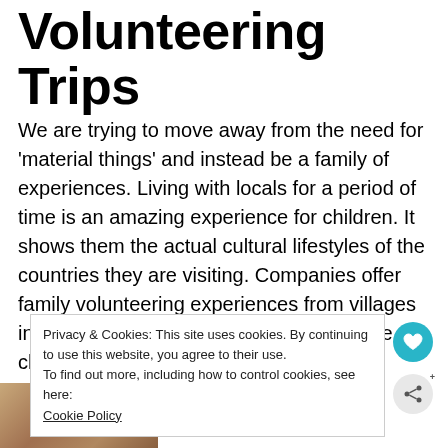Volunteering Trips
We are trying to move away from the need for 'material things' and instead be a family of experiences. Living with locals for a period of time is an amazing experience for children. It shows them the actual cultural lifestyles of the countries they are visiting. Companies offer family volunteering experiences from villages in Kenya to teaching in Ecuador. Make the choice to volunteer with your family.
Privacy & Cookies: This site uses cookies. By continuing to use this website, you agree to their use. To find out more, including how to control cookies, see here: Cookie Policy
[Figure (photo): Advertisement banner showing a group of people with arms around each other and text 'We Stand Together']